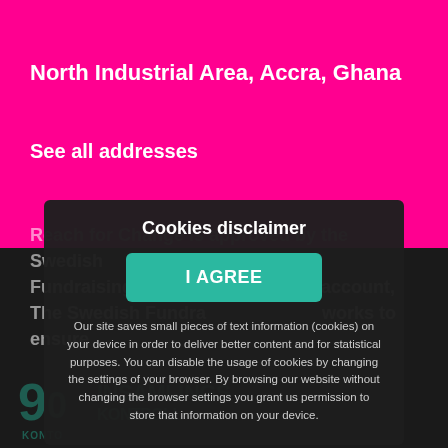North Industrial Area, Accra, Ghana
See all addresses
Reach for Change is approved by the Swedish Fundraising Control and has a 90-account. The Swedish Fundraising Control works to ensure that fundraising activities among the public for humanitarian and religious purposes are actively m...
Cookies disclaimer
I AGREE
Our site saves small pieces of text information (cookies) on your device in order to deliver better content and for statistical purposes. You can disable the usage of cookies by changing the settings of your browser. By browsing our website without changing the browser settings you grant us permission to store that information on your device.
[Figure (logo): 90-konto logo with stylized '90' text and KONTO label, and INSAMLINGS KONTROLL text beside it]